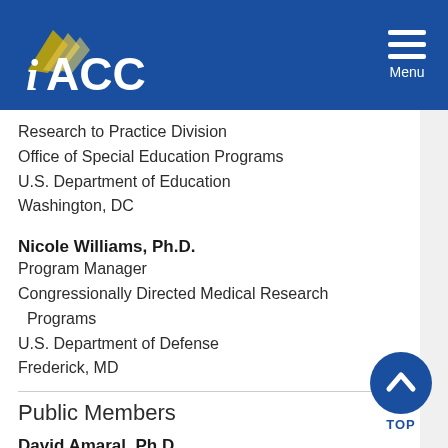IACC Menu
Research to Practice Division
Office of Special Education Programs
U.S. Department of Education
Washington, DC
Nicole Williams, Ph.D.
Program Manager
Congressionally Directed Medical Research Programs
U.S. Department of Defense
Frederick, MD
Public Members
David Amaral, Ph.D.
Distinguished Professor